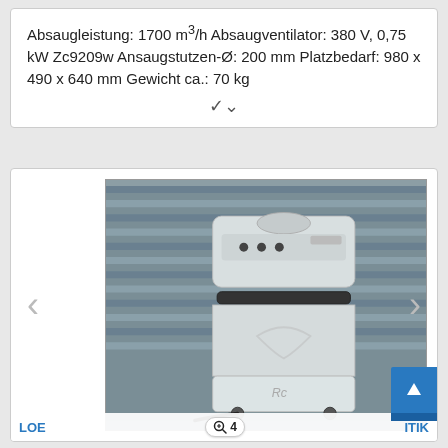Absaugleistung: 1700 m³/h Absaugventilator: 380 V, 0,75 kW Zc9209w Ansaugstutzen-Ø: 200 mm Platzbedarf: 980 x 490 x 640 mm Gewicht ca.: 70 kg
[Figure (photo): Photo of an industrial dust extractor / suction unit on wheels (white/grey machine with handle and cord), photographed against a grey corrugated metal background.]